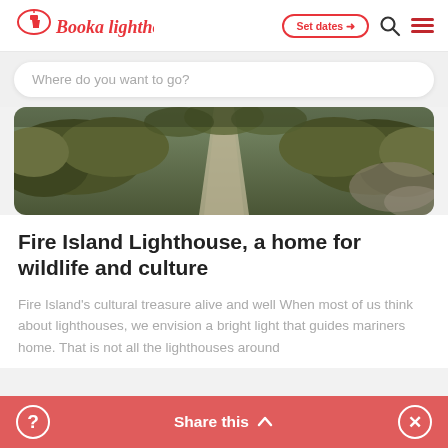Booka Lighthouse
Where do you want to go?
[Figure (photo): Aerial view of a narrow dirt path through dense marshland or shrubland vegetation, seen from above]
Fire Island Lighthouse, a home for wildlife and culture
Fire Island's cultural treasure alive and well When most of us think about lighthouses, we envision a bright light that guides mariners home. That is not all the lighthouses around
Share this